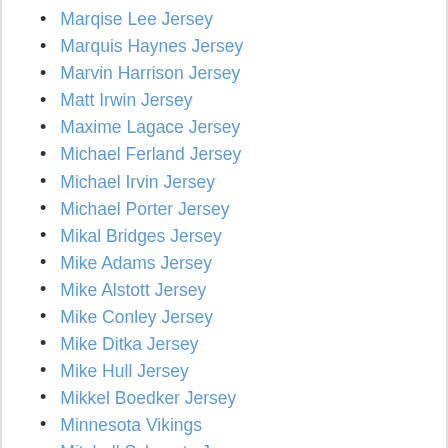Marqise Lee Jersey
Marquis Haynes Jersey
Marvin Harrison Jersey
Matt Irwin Jersey
Maxime Lagace Jersey
Michael Ferland Jersey
Michael Irvin Jersey
Michael Porter Jersey
Mikal Bridges Jersey
Mike Adams Jersey
Mike Alstott Jersey
Mike Conley Jersey
Mike Ditka Jersey
Mike Hull Jersey
Mikkel Boedker Jersey
Minnesota Vikings
Mitchell Schwartz Jersey
Morgan Moses Jersey
Nate Davis Jersey
New York Rangers Jersey